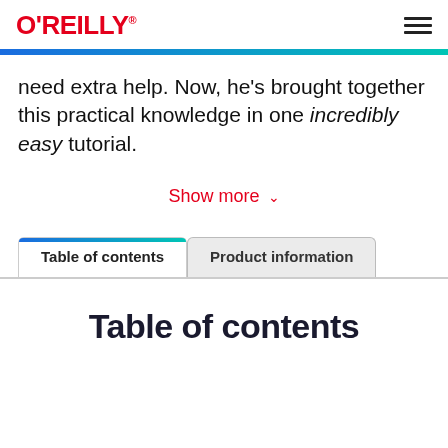O'REILLY
need extra help. Now, he's brought together this practical knowledge in one incredibly easy tutorial.
Show more
Table of contents | Product information
Table of contents